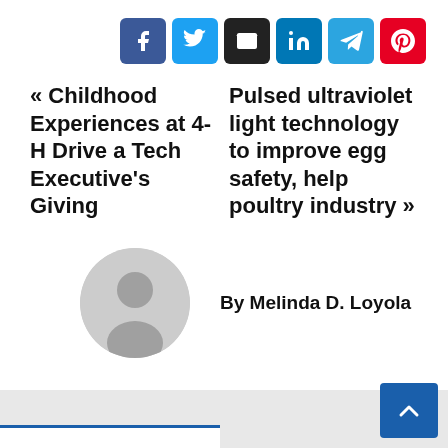[Figure (other): Social share buttons: Facebook (blue), Twitter (light blue), Email (dark/black), LinkedIn (blue), Telegram (teal), Pinterest (red)]
« Childhood Experiences at 4-H Drive a Tech Executive's Giving
Pulsed ultraviolet light technology to improve egg safety, help poultry industry »
[Figure (illustration): Generic user avatar circle — grey circle with white silhouette of a person]
By Melinda D. Loyola